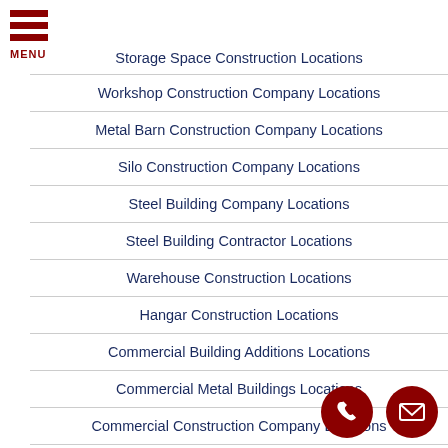[Figure (logo): Red hamburger menu icon with three horizontal bars and MENU text below]
Storage Space Construction Locations
Workshop Construction Company Locations
Metal Barn Construction Company Locations
Silo Construction Company Locations
Steel Building Company Locations
Steel Building Contractor Locations
Warehouse Construction Locations
Hangar Construction Locations
Commercial Building Additions Locations
Commercial Metal Buildings Locations
Commercial Construction Company Locations
Commercial Building Contractor Loca…
[Figure (infographic): Two circular dark red buttons at bottom right: a phone icon and a mail/envelope icon]